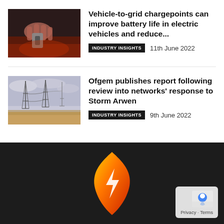[Figure (photo): Thumbnail photo of a person plugging in an electric vehicle charger, with red/orange lighting tones]
Vehicle-to-grid chargepoints can improve battery life in electric vehicles and reduce...
INDUSTRY INSIGHTS   11th June 2022
[Figure (photo): Thumbnail photo of electricity pylons/power lines in a field under a pale sky]
Ofgem publishes report following review into networks' response to Storm Arwen
INDUSTRY INSIGHTS   9th June 2022
[Figure (logo): Orange and red flame/lightning bolt logo on dark background — energy brand logo]